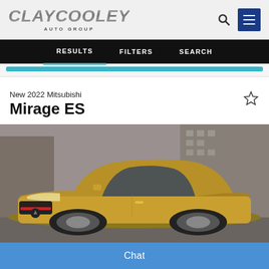Clay Cooley Auto Group
RESULTS   FILTERS   SEARCH
New 2022 Mitsubishi
Mirage ES
[Figure (photo): Gold/yellow 2022 Mitsubishi Mirage ES subcompact car photographed front-quarter angle on a city street]
Chat